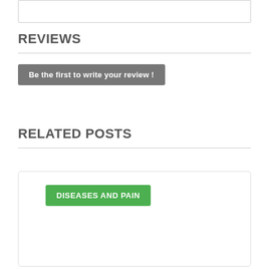REVIEWS
Be the first to write your review !
RELATED POSTS
DISEASES AND PAIN